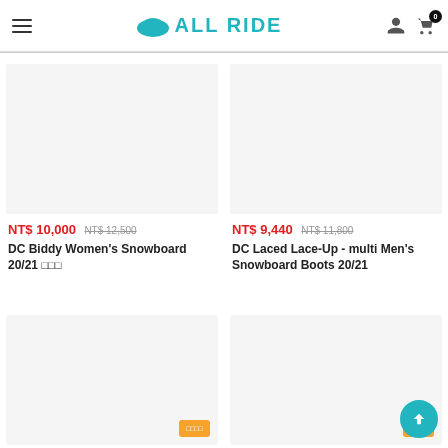ALL RIDE
[Figure (screenshot): Product card: DC Biddy Women's Snowboard 20/21 with sale price NT$ 10,000 (original NT$ 12,500)]
NT$ 10,000 NT$ 12,500
DC Biddy Women's Snowboard 20/21
[Figure (screenshot): Product card: DC Laced Lace-Up - multi Men's Snowboard Boots 20/21 with sale price NT$ 9,440 (original NT$ 11,800)]
NT$ 9,440 NT$ 11,800
DC Laced Lace-Up - multi Men's Snowboard Boots 20/21
[Figure (screenshot): Second row product cards with orange badge buttons]
[Figure (other): Scroll to top teal circular button at bottom right]